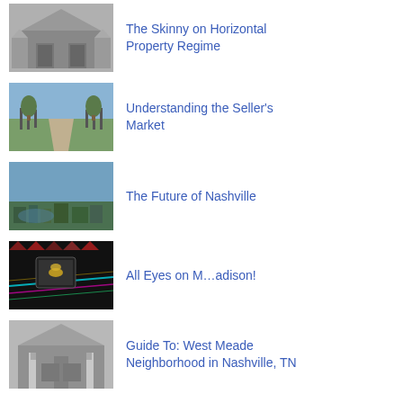[Figure (photo): Grayscale photo of a large stone house with two-car garage]
The Skinny on Horizontal Property Regime
[Figure (photo): Color photo of a tree-lined driveway leading to a property]
Understanding the Seller's Market
[Figure (photo): Aerial color photo of Nashville cityscape]
The Future of Nashville
[Figure (photo): Night photo of colorful light trails and a tablet with butterfly image]
All Eyes on M…adison!
[Figure (photo): Grayscale photo of a large suburban house]
Guide To: West Meade Neighborhood in Nashville, TN
Archives
April 2022